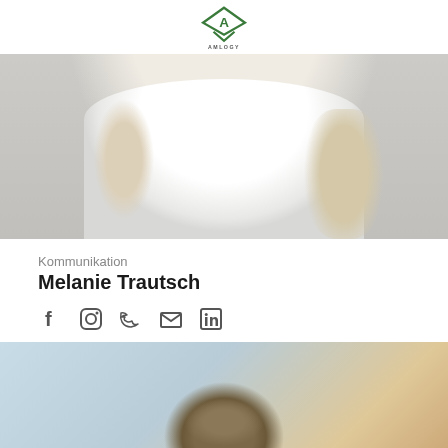[Figure (logo): Amlogy logo - green diamond/triangle shape with letter A inside, text AMLOGY below]
[Figure (photo): Person wearing white t-shirt with Amlogy logo, wearing bracelets, photographed from neck to waist against gray background]
Kommunikation
Melanie Trautsch
[Figure (infographic): Social media icons: Facebook, Instagram, Twitter, Email, LinkedIn]
[Figure (photo): Partial photo of a person with brown hair, light blue background with warm tones]